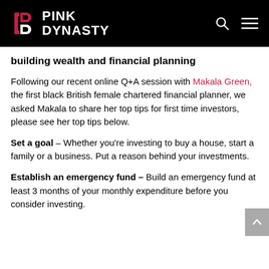Pink Dynasty
building wealth and financial planning
Following our recent online Q+A session with Makala Green, the first black British female chartered financial planner, we asked Makala to share her top tips for first time investors, please see her top tips below.
Set a goal – Whether you're investing to buy a house, start a family or a business. Put a reason behind your investments.
Establish an emergency fund – Build an emergency fund at least 3 months of your monthly expenditure before you consider investing.